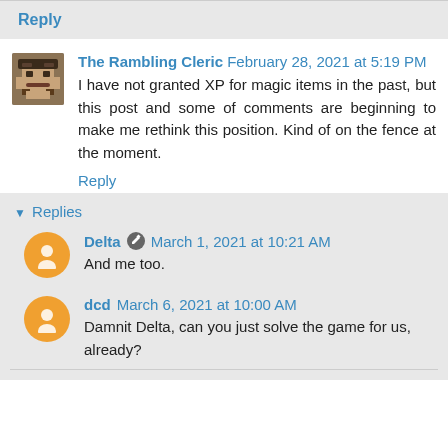Reply
The Rambling Cleric  February 28, 2021 at 5:19 PM
I have not granted XP for magic items in the past, but this post and some of comments are beginning to make me rethink this position. Kind of on the fence at the moment.
Reply
▾ Replies
Delta  March 1, 2021 at 10:21 AM
And me too.
dcd  March 6, 2021 at 10:00 AM
Damnit Delta, can you just solve the game for us, already?